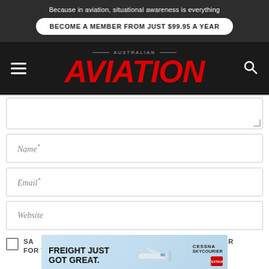Because in aviation, situational awareness is everything
BECOME A MEMBER FROM JUST $99.95 A YEAR
[Figure (logo): Australian Aviation magazine logo with red italic AVIATION text on dark background, hamburger menu icon on left, search icon on right]
Name*
Email*
Website
[Figure (infographic): Advertisement banner: FREIGHT JUST GOT GREAT. with Cessna SkyCourier plane illustration and Cessna/Textron Aviation logos]
SAVE MY NAME, EMAIL, AND WEBSITE IN THIS BROWSER FOR THE NEXT TIME I COMMENT.